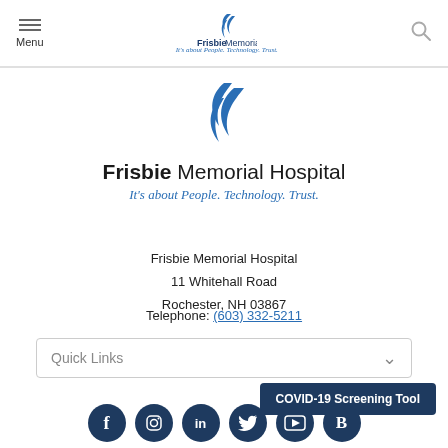Menu | Frisbie Memorial Hospital - It's about People. Technology. Trust. | Search
[Figure (logo): Frisbie Memorial Hospital logo with blue flame/wave icon, bold hospital name, and italic tagline 'It's about People. Technology. Trust.']
Frisbie Memorial Hospital
11 Whitehall Road
Rochester, NH 03867
Telephone: (603) 332-5211
Quick Links
COVID-19 Screening Tool
[Figure (infographic): Social media icons row: Facebook, Instagram, LinkedIn, Twitter, YouTube, Blogspot — all dark navy circular icons]